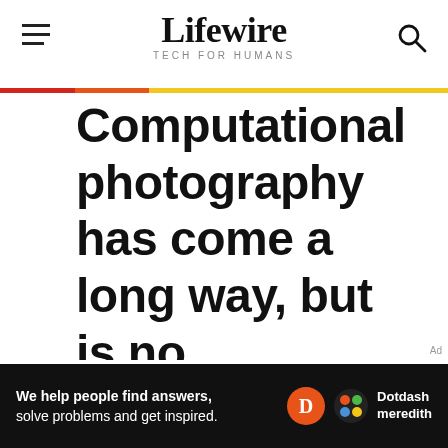Lifewire — TECH FOR HUMANS
Computational photography has come a long way, but is no substitute for larger sensors, which will always be able to output
[Figure (logo): Dotdash Meredith advertisement footer bar: 'We help people find answers, solve problems and get inspired.' with Dotdash Meredith logo]